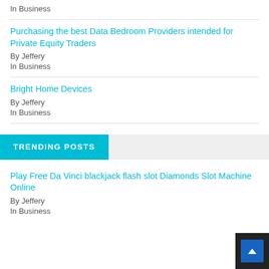In Business
Purchasing the best Data Bedroom Providers intended for Private Equity Traders
By Jeffery
In Business
Bright Home Devices
By Jeffery
In Business
TRENDING POSTS
Play Free Da Vinci blackjack flash slot Diamonds Slot Machine Online
By Jeffery
In Business